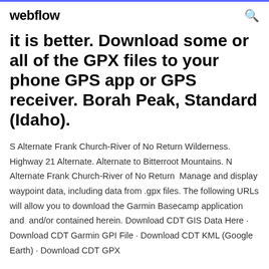webflow
it is better. Download some or all of the GPX files to your phone GPS app or GPS receiver. Borah Peak, Standard (Idaho).
S Alternate Frank Church-River of No Return Wilderness. Highway 21 Alternate. Alternate to Bitterroot Mountains. N Alternate Frank Church-River of No Return  Manage and display waypoint data, including data from .gpx files. The following URLs will allow you to download the Garmin Basecamp application and  and/or contained herein. Download CDT GIS Data Here · Download CDT Garmin GPI File · Download CDT KML (Google Earth) · Download CDT GPX